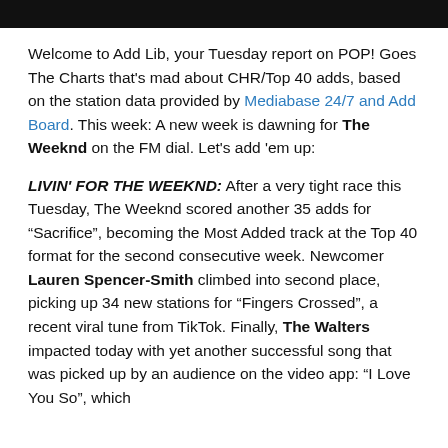Welcome to Add Lib, your Tuesday report on POP! Goes The Charts that's mad about CHR/Top 40 adds, based on the station data provided by Mediabase 24/7 and Add Board. This week: A new week is dawning for The Weeknd on the FM dial. Let's add 'em up:
LIVIN' FOR THE WEEKND: After a very tight race this Tuesday, The Weeknd scored another 35 adds for “Sacrifice”, becoming the Most Added track at the Top 40 format for the second consecutive week. Newcomer Lauren Spencer-Smith climbed into second place, picking up 34 new stations for “Fingers Crossed”, a recent viral tune from TikTok. Finally, The Walters impacted today with yet another successful song that was picked up by an audience on the video app: “I Love You So”, which